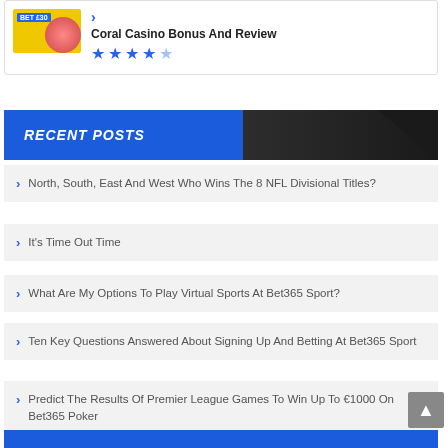Coral Casino Bonus And Review
North, South, East And West Who Wins The 8 NFL Divisional Titles?
It's Time Out Time
What Are My Options To Play Virtual Sports At Bet365 Sport?
Ten Key Questions Answered About Signing Up And Betting At Bet365 Sport
Predict The Results Of Premier League Games To Win Up To €1000 On Bet365 Poker